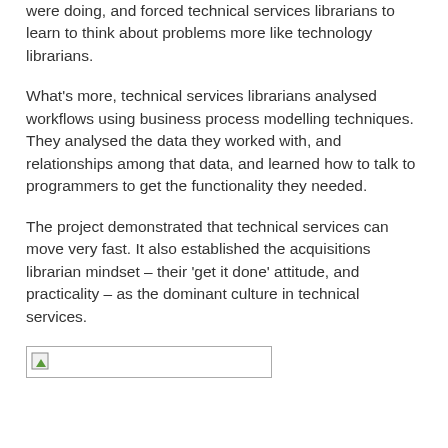were doing, and forced technical services librarians to learn to think about problems more like technology librarians.
What's more, technical services librarians analysed workflows using business process modelling techniques. They analysed the data they worked with, and relationships among that data, and learned how to talk to programmers to get the functionality they needed.
The project demonstrated that technical services can move very fast. It also established the acquisitions librarian mindset – their 'get it done' attitude, and practicality – as the dominant culture in technical services.
[Figure (other): A broken/placeholder image with a small green triangle icon, shown as a bordered rectangle.]